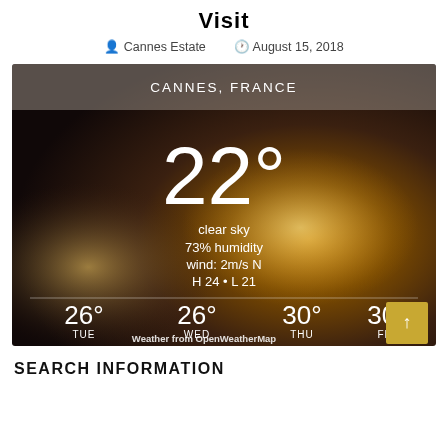Visit
Cannes Estate   August 15, 2018
[Figure (infographic): Weather widget for Cannes, France. Shows current temperature 22°, clear sky, 73% humidity, wind: 2m/s N, H 24 · L 21. Forecast: TUE 26°, WED 26°, THU 30°, FRI 30°. Credit: Weather from OpenWeatherMap. Background is a warm bokeh sunset photo.]
SEARCH INFORMATION